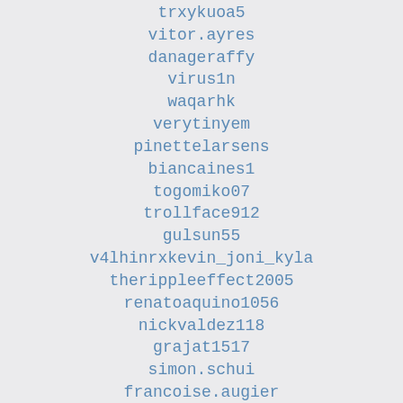trxykuoa5
vitor.ayres
danageraffy
virus1n
waqarhk
verytinyem
pinettelarsens
biancaines1
togomiko07
trollface912
gulsun55
v4lhinrxkevin_joni_kyla
therippleeffect2005
renatoaquino1056
nickvaldez118
grajat1517
simon.schui
francoise.augier
kyle.obrien24
viktoria19033
sutton83167
xika_benalup_
adewqrfewqf
welby33258